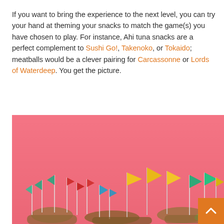If you want to bring the experience to the next level, you can try your hand at theming your snacks to match the game(s) you have chosen to play. For instance, Ahi tuna snacks are a perfect complement to Sushi Go!, Takenoko, or Tokaido; meatballs would be a clever pairing for Carcassonne or Lords of Waterdeep. You get the picture.
[Figure (photo): Photo of colorful party flag food picks (red, yellow, teal/green flags on sticks) inserted into snacks on a bright pink/coral background.]